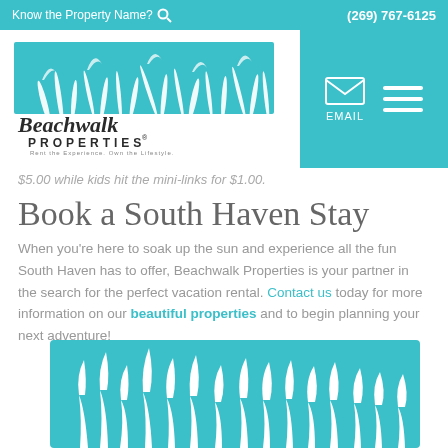Know the Property Name? (269) 767-6125
[Figure (logo): Beachwalk Properties logo with grass/dunes illustration and tagline 'Rent the Experience. Own the Lifestyle.']
$5.00 while kids hit the mini-links for $1.00.
Book a South Haven Stay
When you're here to soak up the sun and experience all the fun South Haven has to offer, Beachwalk Properties is your partner in the search for the perfect vacation rental. Contact us today for more information on our beautiful properties and to begin planning your next adventure!
[Figure (illustration): Teal/turquoise background with white silhouette of beach grass/dune grass at the bottom of the page]